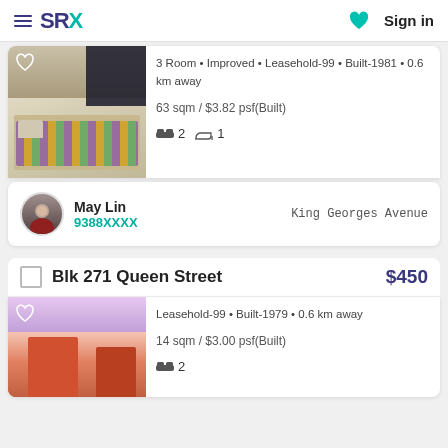SRX  Sign in
3 Room • Improved • Leasehold-99 • Built-1981 • 0.6 km away
63 sqm / $3.82 psf(Built)
🛏 2   🛁 1
May Lin
9388XXXX
King Georges Avenue
Blk 271 Queen Street   $450
Leasehold-99 • Built-1979 • 0.6 km away
14 sqm / $3.00 psf(Built)
🛏 2